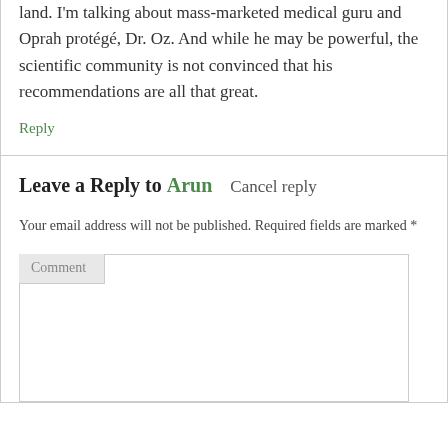land. I'm talking about mass-marketed medical guru and Oprah protégé, Dr. Oz. And while he may be powerful, the scientific community is not convinced that his recommendations are all that great.
Reply
Leave a Reply to Arun    Cancel reply
Your email address will not be published. Required fields are marked *
Comment